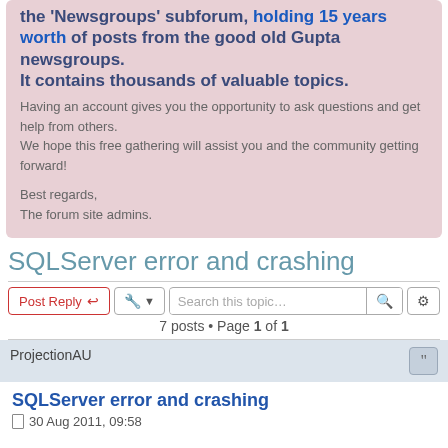As a bonus, registered users have access to the 'Newsgroups' subforum, holding 15 years worth of posts from the good old Gupta newsgroups.
It contains thousands of valuable topics.
Having an account gives you the opportunity to ask questions and get help from others.
We hope this free gathering will assist you and the community getting forward!

Best regards,
The forum site admins.
SQLServer error and crashing
7 posts • Page 1 of 1
ProjectionAU
SQLServer error and crashing
30 Aug 2011, 09:58